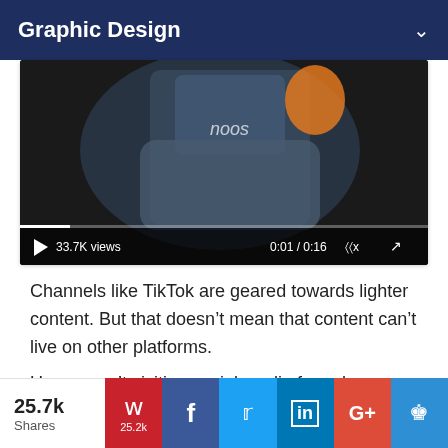Graphic Design
[Figure (screenshot): Video thumbnail showing a person in a blue hoodie, with video controls showing 33.7K views and timestamp 0:01 / 0:16]
Channels like TikTok are geared towards lighter content. But that doesn’t mean that content can’t live on other platforms.
Users aren’t visiting social media for sales-y content. They want to be entertained while they learn tips and tricks. Bringing multiple platforms
25.7k Shares